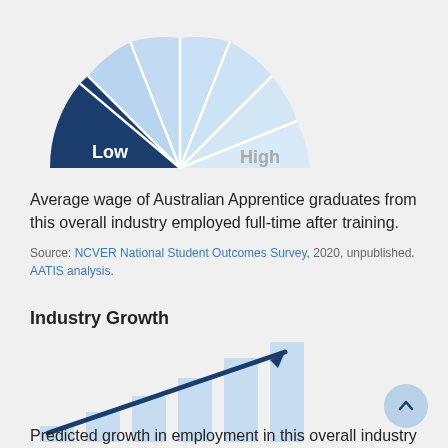[Figure (infographic): A semicircular gauge (half-donut speedometer) showing a scale from Low (left, dark navy blue filled segment) to High (right, light blue segments). The pointer/filled area is on the Low (left) end.]
Average wage of Australian Apprentice graduates from this overall industry employed full-time after training.
Source: NCVER National Student Outcomes Survey, 2020, unpublished. AATIS analysis.
Industry Growth
[Figure (infographic): An infographic showing rising bars (like a bar chart growing taller from left to right) with a dark navy blue arrow pointing upward to the right, indicating predicted industry growth.]
Predicted growth in employment in this overall industry